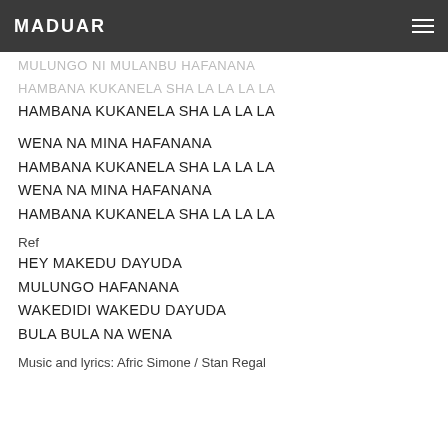MADUAR
MULUNGO NI MULANBU HAFANANA
HAMBANA KUKANELA SHA LA LA LA LA
HAMBANA KUKANELA SHA LA LA LA
WENA NA MINA HAFANANA
HAMBANA KUKANELA SHA LA LA LA
WENA NA MINA HAFANANA
HAMBANA KUKANELA SHA LA LA LA
Ref
HEY MAKEDU DAYUDA
MULUNGO HAFANANA
WAKEDIDI WAKEDU DAYUDA
BULA BULA NA WENA
Music and lyrics: Afric Simone / Stan Regal